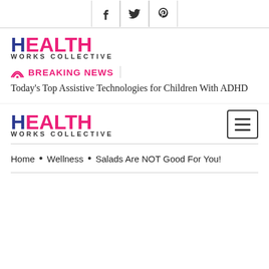[Figure (other): Social share bar with Facebook, Twitter, and Pinterest icons]
[Figure (logo): Health Works Collective logo - top instance]
BREAKING NEWS
Today's Top Assistive Technologies for Children With ADHD
[Figure (logo): Health Works Collective logo - second instance with hamburger menu]
Home • Wellness • Salads Are NOT Good For You!